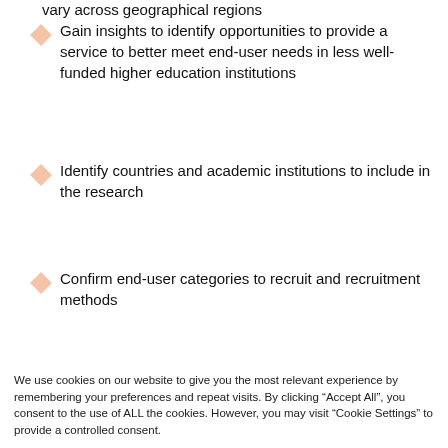vary across geographical regions
Gain insights to identify opportunities to provide a service to better meet end-user needs in less well-funded higher education institutions
Identify countries and academic institutions to include in the research
Confirm end-user categories to recruit and recruitment methods
We use cookies on our website to give you the most relevant experience by remembering your preferences and repeat visits. By clicking “Accept All”, you consent to the use of ALL the cookies. However, you may visit "Cookie Settings" to provide a controlled consent.